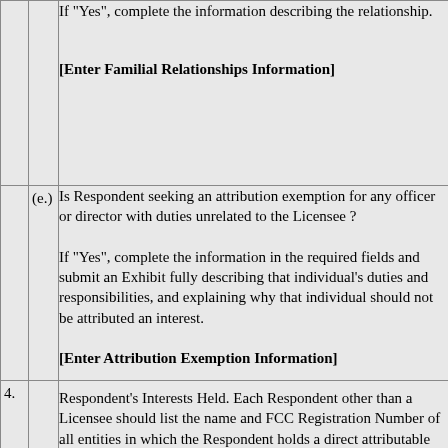|  |  | If "Yes", complete the information describing the relationship.

[Enter Familial Relationships Information] |
|  | (e.) | Is Respondent seeking an attribution exemption for any officer or director with duties unrelated to the Licensee ?

If "Yes", complete the information in the required fields and submit an Exhibit fully describing that individual's duties and responsibilities, and explaining why that individual should not be attributed an interest.

[Enter Attribution Exemption Information] |
| 4. |  | Respondent's Interests Held. Each Respondent other than a Licensee should list the name and FCC Registration Number of all entities in which the Respondent holds a direct attributable ownership interest, where that listed entity has an attributable ownership interest in the Licensee of the ... |